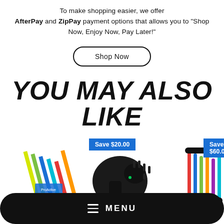To make shopping easier, we offer AfterPay and ZipPay payment options that allows you to "Shop Now, Enjoy Now, Pay Later!"
Shop Now
YOU MAY ALSO LIKE
[Figure (photo): Product images row showing resistance bands, a massage gun, and exercise equipment with Save $20.00 and Save $60.00 badges]
≡ MENU